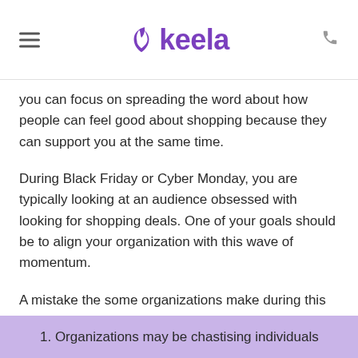keela
you can focus on spreading the word about how people can feel good about shopping because they can support you at the same time.
During Black Friday or Cyber Monday, you are typically looking at an audience obsessed with looking for shopping deals. One of your goals should be to align your organization with this wave of momentum.
A mistake the some organizations make during this time is talking about how people are being selfish and should instead focus on philanthropy. This doesn’t typically work — for a couple reasons:
1. Organizations may be chastising individuals